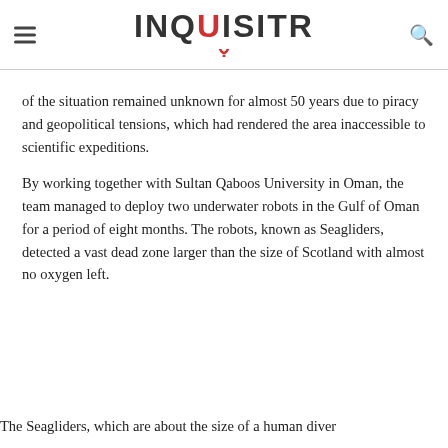INQUISITR
of the situation remained unknown for almost 50 years due to piracy and geopolitical tensions, which had rendered the area inaccessible to scientific expeditions.
By working together with Sultan Qaboos University in Oman, the team managed to deploy two underwater robots in the Gulf of Oman for a period of eight months. The robots, known as Seagliders, detected a vast dead zone larger than the size of Scotland with almost no oxygen left.
The Seagliders, which are about the size of a human diver...